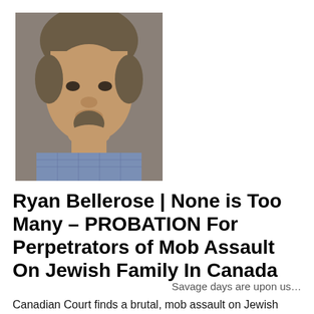[Figure (photo): Headshot photo of a heavyset man with a goatee and short hair wearing a plaid shirt, looking at the camera.]
Ryan Bellerose | None is Too Many – PROBATION For Perpetrators of Mob Assault On Jewish Family In Canada
Savage days are upon us…
Canadian Court finds a brutal, mob assault on Jewish family punishable by probation.